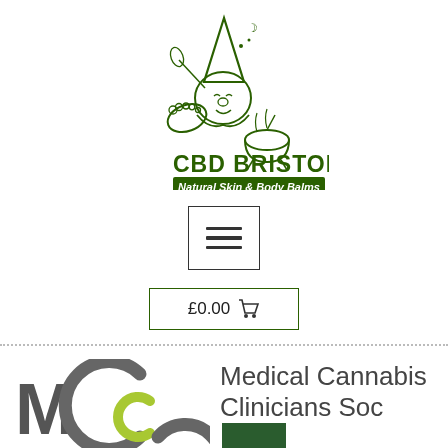[Figure (logo): CBD Bristol logo: a cartoon gnome/elf character wearing a witch hat, holding a wheat stalk, with a cauldron. Text reads 'CBD BRISTOL' in large green bold letters with a green banner underneath reading 'Natural Skin & Body Balms' in italic white text.]
[Figure (other): Hamburger menu icon inside a square border]
[Figure (other): Shopping cart button showing £0.00 with cart icon, inside a rectangular border]
[Figure (logo): Medical Cannabis Clinicians Society (MCCS) logo: stylized M, C, S letters in grey and lime green, next to text 'Medical Cannabis Clinicians Soc[iety]' partially obscured by a dark green scroll-to-top button with upward chevron.]